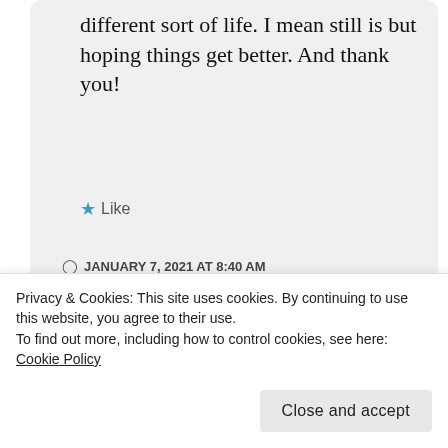different sort of life. I mean still is but hoping things get better. And thank you!
★ Like
JANUARY 7, 2021 AT 8:40 AM
↳ REPLY
[Figure (photo): Circular avatar photo of a person, partially visible at bottom of page]
sounds great! would love
Privacy & Cookies: This site uses cookies. By continuing to use this website, you agree to their use.
To find out more, including how to control cookies, see here: Cookie Policy
Close and accept